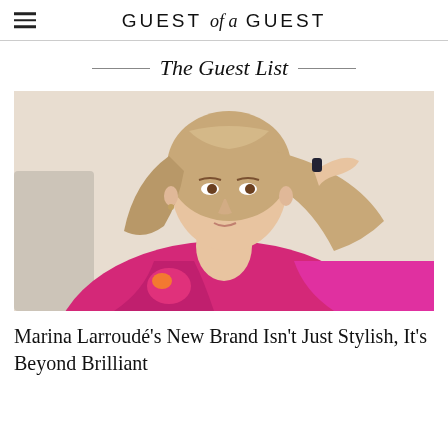GUEST of a GUEST
The Guest List
[Figure (photo): Portrait of Marina Larroudé wearing a hot pink satin robe with floral embroidery, hand raised to her head, long blonde-brown hair, photographed against a light background.]
Marina Larroudé's New Brand Isn't Just Stylish, It's Beyond Brilliant